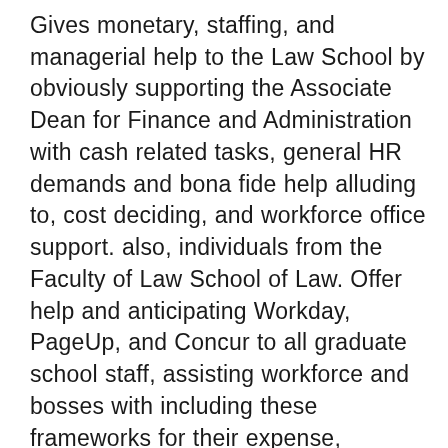Gives monetary, staffing, and managerial help to the Law School by obviously supporting the Associate Dean for Finance and Administration with cash related tasks, general HR demands and bona fide help alluding to, cost deciding, and workforce office support. also, individuals from the Faculty of Law School of Law. Offer help and anticipating Workday, PageUp, and Concur to all graduate school staff, assisting workforce and bosses with including these frameworks for their expense, staffing, and authoritative necessities. Offer managerial kinds of help to the school office, including recording clear and definite data, having a tendency to general deals concerning rules, occasions, and so on.